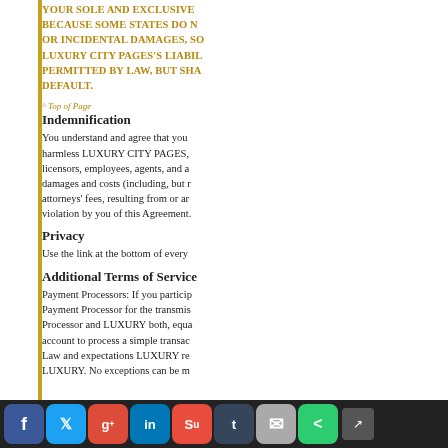YOUR SOLE AND EXCLUSIVE BECAUSE SOME STATES DO NOT OR INCIDENTAL DAMAGES, SO LUXURY CITY PAGES'S LIABILITY PERMITTED BY LAW, BUT SHALL DEFAULT.
^ Top of Page
Indemnification
You understand and agree that you harmless LUXURY CITY PAGES, licensors, employees, agents, and a damages and costs (including, but n attorneys' fees, resulting from or ar violation by you of this Agreement.
Privacy
Use the link at the bottom of every
Additional Terms of Service
Payment Processors: If you particip Payment Processor for the transmis Processor and LUXURY both, equa account to process a simple transac Law and expectations LUXURY re LUXURY. No exceptions can be m